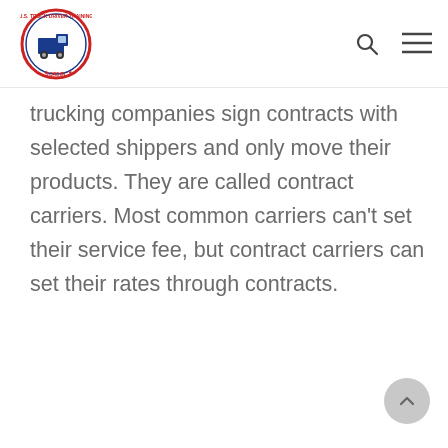[Figure (logo): U.S. Truck Driver Training School circular logo with truck illustration, red and blue border]
trucking companies sign contracts with selected shippers and only move their products. They are called contract carriers. Most common carriers can't set their service fee, but contract carriers can set their rates through contracts.